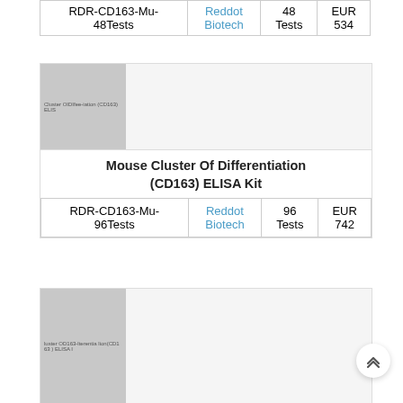| Product | Supplier | Size | Price |
| --- | --- | --- | --- |
| RDR-CD163-Mu-48Tests | Reddot Biotech | 48 Tests | EUR 534 |
[Figure (photo): Product image placeholder for Cluster Of Differentiation (CD163) ELISA Kit, labeled 'Cluster OIDIfee-iation (CD163) ELIS']
Mouse Cluster Of Differentiation (CD163) ELISA Kit
| Product | Supplier | Size | Price |
| --- | --- | --- | --- |
| RDR-CD163-Mu-96Tests | Reddot Biotech | 96 Tests | EUR 742 |
[Figure (photo): Product image placeholder for second CD163 ELISA Kit listing, labeled 'luster OD163-lterentia lion(CD163 ) ELISA I']